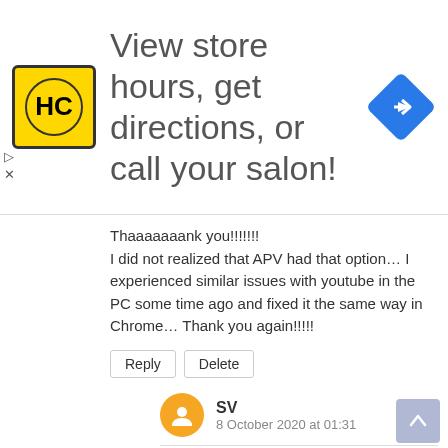[Figure (screenshot): Advertisement banner for HC salon with logo, text 'View store hours, get directions, or call your salon!' and a blue navigation diamond icon]
Thaaaaaaank you!!!!!!!
I did not realized that APV had that option… I experienced similar issues with youtube in the PC some time ago and fixed it the same way in Chrome… Thank you again!!!!!
Reply   Delete
SV
8 October 2020 at 01:31
What about quality?
Delete
Unknown
30 September 2020 at 09:25
Omg you saved my sanity! I was watching such a good